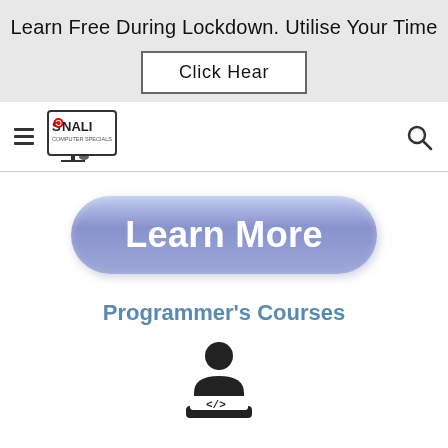Learn Free During Lockdown. Utilise Your Time
Click Hear
[Figure (logo): Sonali Computer Specials logo with hamburger menu icon and search icon in navigation bar]
Learn More
Programmer's Courses
[Figure (illustration): Icon of a programmer sitting at a laptop with code symbol]